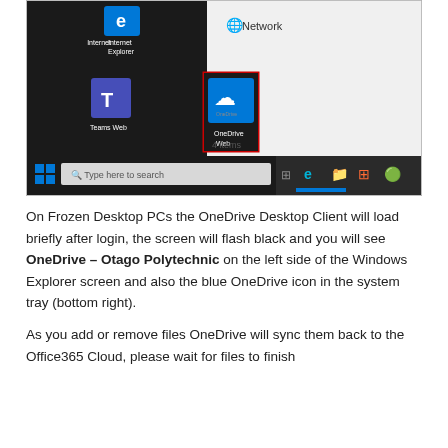[Figure (screenshot): Screenshot of Windows 10 desktop showing a file explorer window with Internet Explorer, Teams Web, and OneDrive Web icons on the left panel (OneDrive Web is highlighted with a red rectangle border), and a Network shortcut on the right side. The taskbar at the bottom shows the Windows logo, search bar 'Type here to search', and system tray icons.]
On Frozen Desktop PCs the OneDrive Desktop Client will load briefly after login, the screen will flash black and you will see OneDrive – Otago Polytechnic on the left side of the Windows Explorer screen and also the blue OneDrive icon in the system tray (bottom right).
As you add or remove files OneDrive will sync them back to the Office365 Cloud, please wait for files to finish